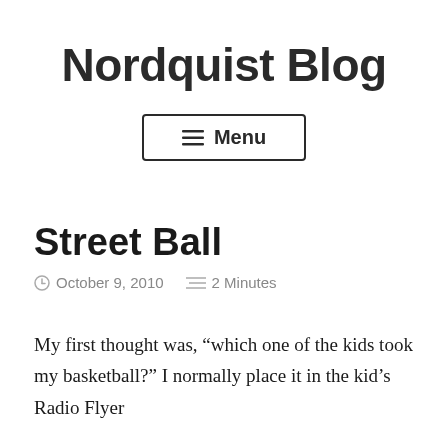Nordquist Blog
[Figure (other): Menu navigation button with hamburger icon and 'Menu' label, bordered rectangle]
Street Ball
October 9, 2010   2 Minutes
My first thought was, “which one of the kids took my basketball?” I normally place it in the kid’s Radio Flyer